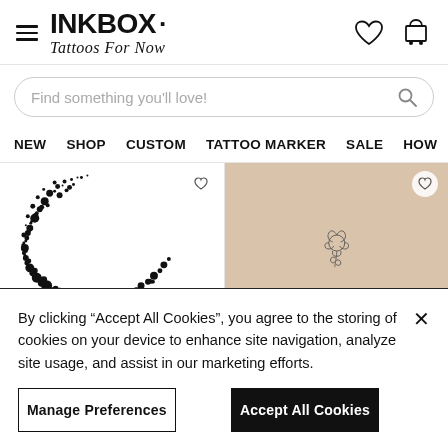[Figure (logo): INKBOX logo with tagline 'Tattoos For Now' in bold uppercase and italic handwritten style]
Find something you'll love!
NEW   SHOP   CUSTOM   TATTOO MARKER   SALE   HOW
[Figure (photo): Two product images: left shows an abstract arc tattoo design in black dots on white background; right shows a small rose tattoo on a person's shoulder/collarbone area]
By clicking “Accept All Cookies”, you agree to the storing of cookies on your device to enhance site navigation, analyze site usage, and assist in our marketing efforts.
Manage Preferences
Accept All Cookies